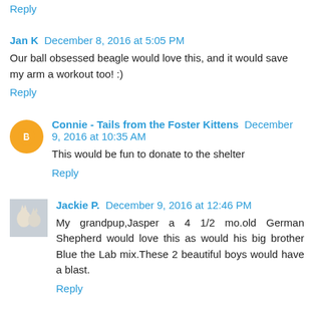Reply
Jan K  December 8, 2016 at 5:05 PM
Our ball obsessed beagle would love this, and it would save my arm a workout too! :)
Reply
Connie - Tails from the Foster Kittens  December 9, 2016 at 10:35 AM
This would be fun to donate to the shelter
Reply
Jackie P.  December 9, 2016 at 12:46 PM
My grandpup,Jasper a 4 1/2 mo.old German Shepherd would love this as would his big brother Blue the Lab mix.These 2 beautiful boys would have a blast.
Reply